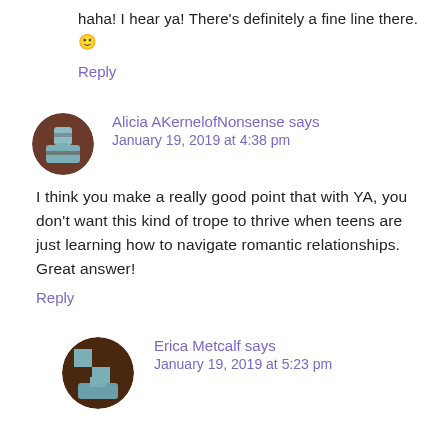haha! I hear ya! There's definitely a fine line there. 🙂
Reply
Alicia AKernelofNonsense says
January 19, 2019 at 4:38 pm
I think you make a really good point that with YA, you don't want this kind of trope to thrive when teens are just learning how to navigate romantic relationships. Great answer!
Reply
Erica Metcalf says
January 19, 2019 at 5:23 pm